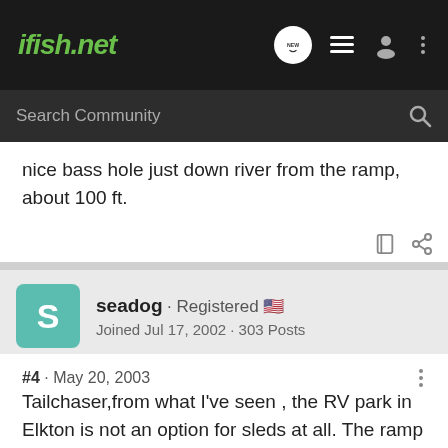ifish.net
nice bass hole just down river from the ramp, about 100 ft.
seadog · Registered
Joined Jul 17, 2002 · 303 Posts
#4 · May 20, 2003
Tailchaser,from what I've seen , the RV park in Elkton is not an option for sleds at all. The ramp above sawyers on the back side is not good for sleds that time of year, you might get one in